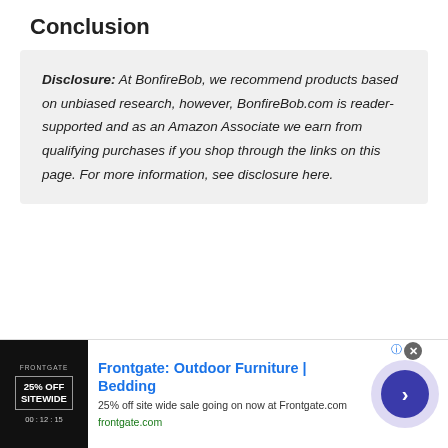Conclusion
Disclosure: At BonfireBob, we recommend products based on unbiased research, however, BonfireBob.com is reader-supported and as an Amazon Associate we earn from qualifying purchases if you shop through the links on this page. For more information, see disclosure here.
[Figure (infographic): Advertisement banner for Frontgate: Outdoor Furniture | Bedding. Shows a promotional image with '25% OFF SITEWIDE' text, ad title, description '25% off site wide sale going on now at Frontgate.com', URL 'frontgate.com', a close button, an info icon, and a navigation arrow button.]